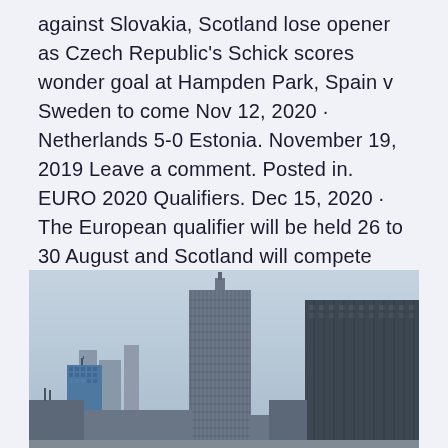against Slovakia, Scotland lose opener as Czech Republic's Schick scores wonder goal at Hampden Park, Spain v Sweden to come Nov 12, 2020 · Netherlands 5-0 Estonia. November 19, 2019 Leave a comment. Posted in. EURO 2020 Qualifiers. Dec 15, 2020 · The European qualifier will be held 26 to 30 August and Scotland will compete with Ireland, Netherlands, Germany, France and Turkey to earn a qualifying spot in the Global Qualifier to be held in 2022. Host venues will be announced shortly.
[Figure (photo): A cityscape with several tall skyscrapers and buildings against a hazy grey-blue sky. Buildings vary in height and architectural style.]